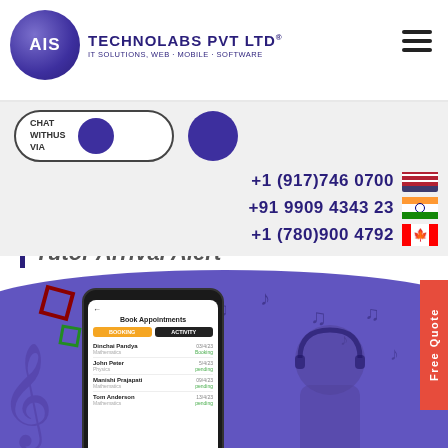AIS TECHNOLABS PVT LTD – IT SOLUTIONS, WEB · MOBILE · SOFTWARE
CHAT WITHUS VIA
+1 (917)746 0700
+91 9909 4343 23
+1 (780)900 4792
Tutor Arrival Alert
[Figure (screenshot): Mobile app screenshot showing Book Appointments screen with tutor list: Dinchai Pandya (Mathematics), John Peter (Physics), Manishi Prajapati (Mathematics), Tom Anderson (Mathematics) with statuses and dates]
[Figure (illustration): Purple circular illustration background with a person wearing headphones writing/studying, music notes, decorative squares, and treble clef symbols]